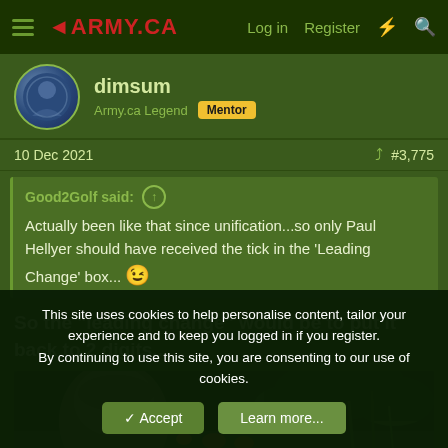4ARMY.CA  Log in  Register
dimsum
Army.ca Legend  Mentor
10 Dec 2021  #3,775
Good2Golf said:
Actually been like that since unification...so only Paul Hellyer should have received the tick in the 'Leading Change' box... 😉
So the "leading change" would be to put it back to 2 digits...
[Figure (photo): Partial photo of a person's head with foliage/vegetables in background]
This site uses cookies to help personalise content, tailor your experience and to keep you logged in if you register.
By continuing to use this site, you are consenting to our use of cookies.
✓ Accept    Learn more...